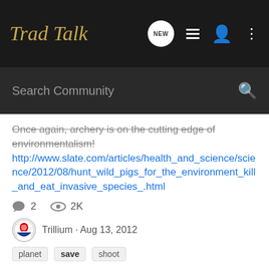Trad Talk
Once again, archery is on the cutting edge of environmentalism! http://www.slate.com/articles/health_and_science/science/2012/08/hunt_wild_pigs_for_the_environment_kill_and_eat_invasive_species_.html
2 comments · 2K views · Trillium · Aug 13, 2012
planet · save · shoot
one more question TO SAVE MY ARM
TradTalk Main Forum
Could you use the same target as I have been using.....shoot 10 rounds of 3 arrows and score it 10-9-8-7-6-instead? I could be wrong HUNTING is the word.....at least I read it...